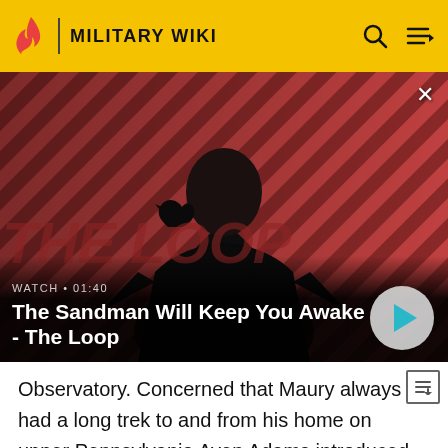MILITARY WIKI
[Figure (screenshot): Video thumbnail showing a person in dark clothing with a raven on shoulder against a red diagonal striped background. Title card reads 'The Sandman Will Keep You Awake - The Loop'. Watch duration 01:40.]
Observatory. Concerned that Maury always had a long trek to and from his home on upper Pennsylvania Aven Adams introduced an appropriations bill that funded a Superintendent's House on the Observatory grounds (a large mansion was built on the site in the 1890s for the